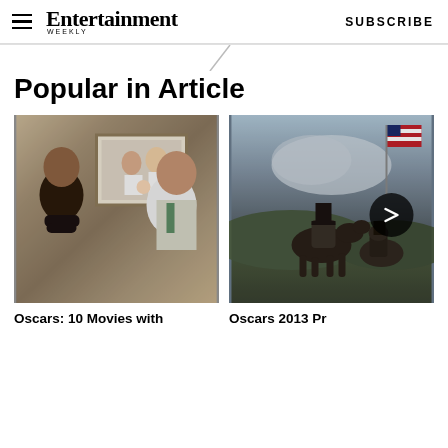Entertainment Weekly — SUBSCRIBE
Popular in Article
[Figure (photo): Scene from Silver Linings Playbook: a woman in black and a man in a Philadelphia Eagles jersey stand facing each other in front of a framed family photo on the wall.]
[Figure (photo): Scene from Lincoln (2013): a figure in a top hat on horseback with an American flag in the background, with a circular arrow navigation button overlay.]
Oscars: 10 Movies with
Oscars 2013 Pr